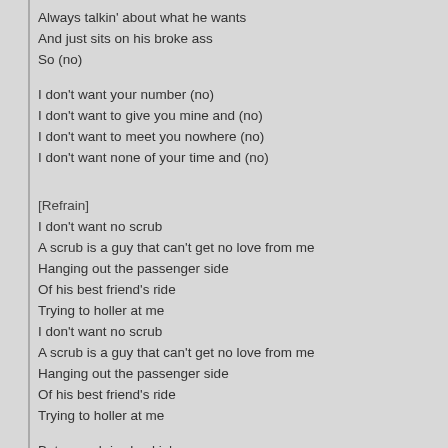Always talkin' about what he wants
And just sits on his broke ass
So (no)
I don't want your number (no)
I don't want to give you mine and (no)
I don't want to meet you nowhere (no)
I don't want none of your time and (no)
[Refrain]
I don't want no scrub
A scrub is a guy that can't get no love from me
Hanging out the passenger side
Of his best friend's ride
Trying to holler at me
I don't want no scrub
A scrub is a guy that can't get no love from me
Hanging out the passenger side
Of his best friend's ride
Trying to holler at me
But a scrub is checkin' me
But his game is kinda weak
And I know that he cannot approach me
Cuz I'm lookin' like class and he's lookin' like trash